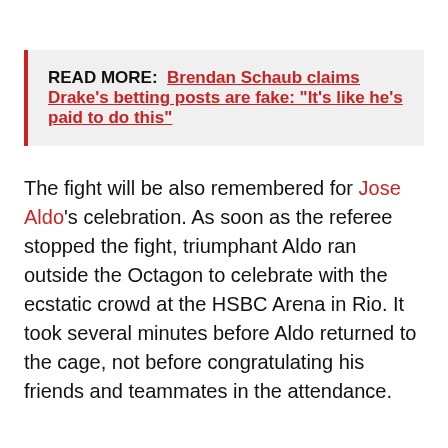READ MORE: Brendan Schaub claims Drake's betting posts are fake: "It's like he's paid to do this"
The fight will be also remembered for Jose Aldo's celebration. As soon as the referee stopped the fight, triumphant Aldo ran outside the Octagon to celebrate with the ecstatic crowd at the HSBC Arena in Rio. It took several minutes before Aldo returned to the cage, not before congratulating his friends and teammates in the attendance.